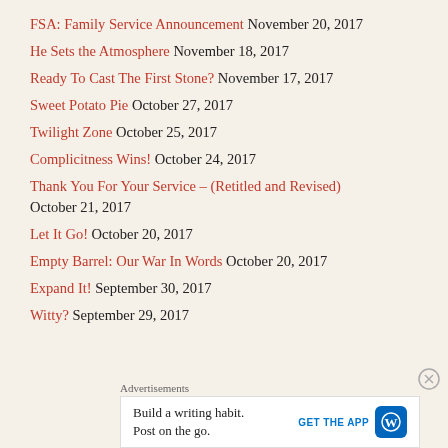FSA: Family Service Announcement November 20, 2017
He Sets the Atmosphere November 18, 2017
Ready To Cast The First Stone? November 17, 2017
Sweet Potato Pie October 27, 2017
Twilight Zone October 25, 2017
Complicitness Wins! October 24, 2017
Thank You For Your Service – (Retitled and Revised) October 21, 2017
Let It Go! October 20, 2017
Empty Barrel: Our War In Words October 20, 2017
Expand It! September 30, 2017
Witty? September 29, 2017
Advertisements
Build a writing habit. Post on the go. GET THE APP